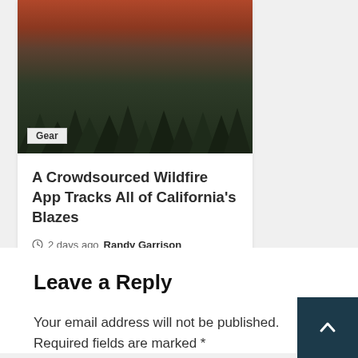[Figure (photo): A wildfire scene showing trees silhouetted against a smoky reddish-orange sky with smoke and fire visible at top]
Gear
A Crowdsourced Wildfire App Tracks All of California's Blazes
2 days ago  Randy Garrison
Leave a Reply
Your email address will not be published. Required fields are marked *